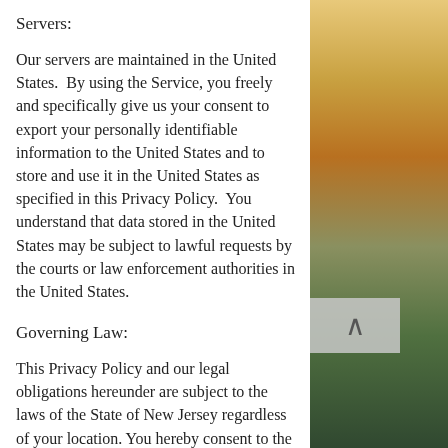Servers:
Our servers are maintained in the United States.  By using the Service, you freely and specifically give us your consent to export your personally identifiable information to the United States and to store and use it in the United States as specified in this Privacy Policy.  You understand that data stored in the United States may be subject to lawful requests by the courts or law enforcement authorities in the United States.
Governing Law:
This Privacy Policy and our legal obligations hereunder are subject to the laws of the State of New Jersey regardless of your location.  You hereby consent to the exclusive jurisdiction of and venue in the courts located in the State of New Jersey, County of Middlesex, in all disputes arising out of or relating to the Services.
[Figure (photo): Blurred photo of electronic components/circuit board with warm orange and green tones, positioned on the right side of the page]